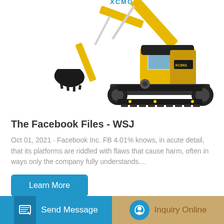[Figure (photo): Yellow XCMG crawler excavator with black boom arm and bucket on white background]
The Facebook Files - WSJ
Oct 01, 2021 · Facebook Inc. FB 4.01% knows, in acute detail, that its platforms are riddled with flaws that cause harm, often in ways only the company fully understands....
Learn More
Send Message
Inquiry Online